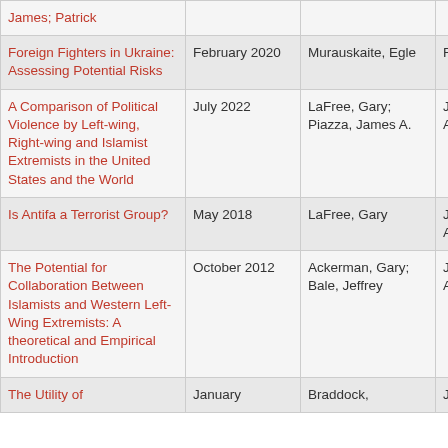| Title | Date | Author | Type |
| --- | --- | --- | --- |
| James; Patrick |  |  |  |
| Foreign Fighters in Ukraine: Assessing Potential Risks | February 2020 | Murauskaite, Egle | Report |
| A Comparison of Political Violence by Left-wing, Right-wing and Islamist Extremists in the United States and the World | July 2022 | LaFree, Gary; Piazza, James A. | Journal Article |
| Is Antifa a Terrorist Group? | May 2018 | LaFree, Gary | Journal Article |
| The Potential for Collaboration Between Islamists and Western Left-Wing Extremists: A theoretical and Empirical Introduction | October 2012 | Ackerman, Gary; Bale, Jeffrey | Journal Article |
| The Utility of | January | Braddock, | Journal |